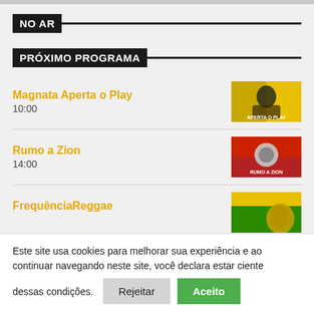NO AR
PRÓXIMO PROGRAMA
Magnata Aperta o Play
10:00
Rumo a Zion
14:00
FrequênciaReggae
16:00
Este site usa cookies para melhorar sua experiência e ao continuar navegando neste site, você declara estar ciente dessas condições.